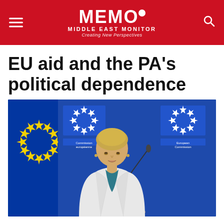MEMO MIDDLE EAST MONITOR — Creating New Perspectives
EU aid and the PA's political dependence
[Figure (photo): A woman with short blonde hair wearing a white blazer and teal blouse/scarf speaks at a podium. Behind her is a blue EU Commission backdrop and the EU flag with yellow stars on blue background.]